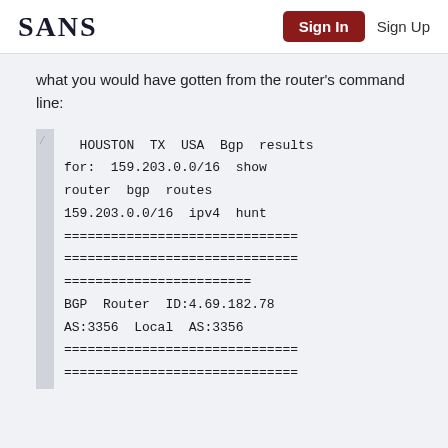SANS   Sign In   Sign Up
what you would have gotten from the router's command line:
/ HOUSTON TX USA Bgp results for: 159.203.0.0/16 show router bgp routes 159.203.0.0/16 ipv4 hunt
============================
============================
========================
BGP Router ID:4.69.182.78 AS:3356 Local AS:3356
============================
============================